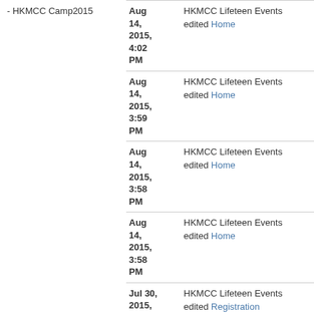- HKMCC Camp2015
| Date | Description |
| --- | --- |
| Aug 14, 2015, 4:02 PM | HKMCC Lifeteen Events edited Home |
| Aug 14, 2015, 3:59 PM | HKMCC Lifeteen Events edited Home |
| Aug 14, 2015, 3:58 PM | HKMCC Lifeteen Events edited Home |
| Aug 14, 2015, 3:58 PM | HKMCC Lifeteen Events edited Home |
| Jul 30, 2015, 3:04 AM | HKMCC Lifeteen Events edited Registration |
| Jul 30, 2015, 3:02 AM | HKMCC Lifeteen Events edited Registration |